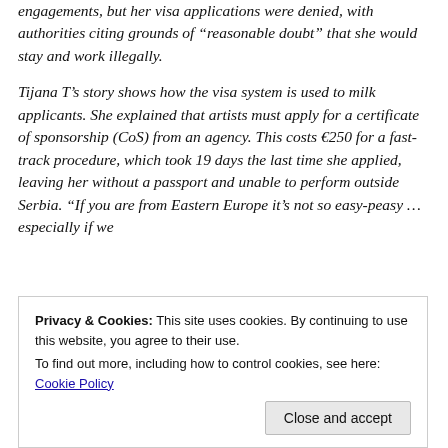engagements, but her visa applications were denied, with authorities citing grounds of “reasonable doubt” that she would stay and work illegally.
Tijana T’s story shows how the visa system is used to milk applicants. She explained that artists must apply for a certificate of sponsorship (CoS) from an agency. This costs €250 for a fast-track procedure, which took 19 days the last time she applied, leaving her without a passport and unable to perform outside Serbia. “If you are from Eastern Europe it’s not so easy-peasy … especially if we talk about Serbia where average monthly salary is €300
sometimes involving huge cross-border trips. The next set
Privacy & Cookies: This site uses cookies. By continuing to use this website, you agree to their use.
To find out more, including how to control cookies, see here: Cookie Policy